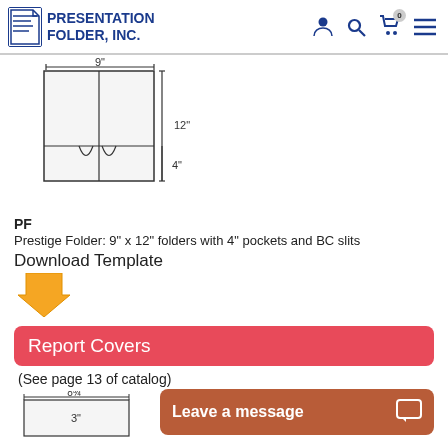Presentation Folder, Inc.
[Figure (schematic): Line drawing of a 9" x 12" presentation folder showing two pockets of 4" depth with BC slits, with dimension annotations: 9" width at top and 12" height on right side, 4" pocket height on lower right.]
PF
Prestige Folder: 9" x 12" folders with 4" pockets and BC slits
Download Template
[Figure (illustration): Orange/yellow downward pointing arrow icon for downloading a template.]
Report Covers
(See page 13 of catalog)
[Figure (schematic): Partial line drawing of a report cover with dimensions 8 3/4" width and 3" shown, partially visible at bottom of page.]
Leave a message